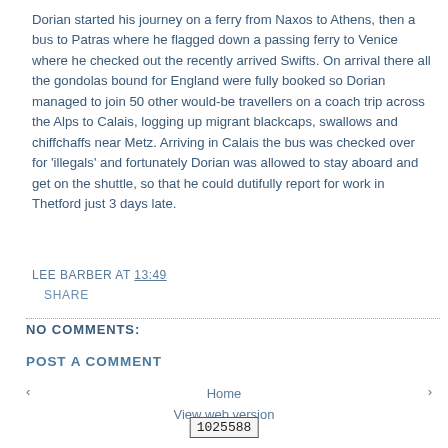Dorian started his journey on a ferry from Naxos to Athens, then a bus to Patras where he flagged down a passing ferry to Venice where he checked out the recently arrived Swifts. On arrival there all the gondolas bound for England were fully booked so Dorian managed to join 50 other would-be travellers on a coach trip across the Alps to Calais, logging up migrant blackcaps, swallows and chiffchaffs near Metz. Arriving in Calais the bus was checked over for 'illegals' and fortunately Dorian was allowed to stay aboard and get on the shuttle, so that he could dutifully report for work in Thetford just 3 days late.
LEE BARBER AT 13:49
SHARE
NO COMMENTS:
POST A COMMENT
‹   Home   View web version   ›
1025588